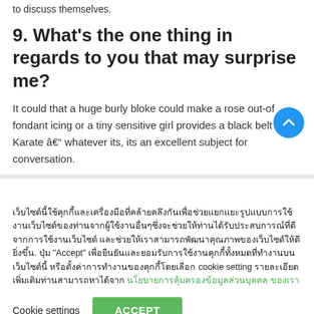to discuss themselves.
9. What's the one thing in regards to you that may surprise me?
It could that a huge burly bloke could make a rose out-of fondant icing or a tiny sensitive girl provides a black belt at Karate â whatever its, its an excellent subject for conversation.
เว็บไซต์นี้ใช้คุกกี้และเครื่องมือที่คล้ายคลึงกันเพื่อช่วยแยกแยะรูปแบบการใช้งานเว็บไซต์ของท่านจากผู้ใช้งานอื่นๆซึ่งจะช่วยให้ท่านได้รับประสบการณ์ที่ดีจากการใช้งานเว็บไซต์ และช่วยให้เราสามารถพัฒนาคุณภาพของเว็บไซต์ให้ดียิ่งขึ้น. ปุ่ม "Accept" เพื่อยืนยันและยอมรับการใช้งานคุกกี้ทั้งหมดที่ทำงานบนเว็บไซต์นี้ หรือตั้งค่าการทำงานของคุกกี้โดยเลือก cookie setting รายละเอียดเพิ่มเติมท่านสามารถหาได้จาก นโยบายการคุ้มครองข้อมูลส่วนบุคคล ของเรา
Cookie settings  ACCEPT